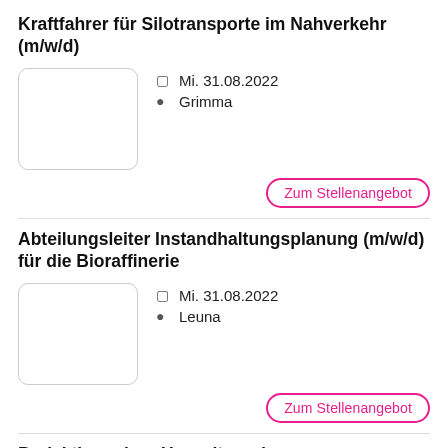Kraftfahrer für Silotransporte im Nahverkehr (m/w/d)
Mi. 31.08.2022
Grimma
Zum Stellenangebot
Abteilungsleiter Instandhaltungsplanung (m/w/d) für die Bioraffinerie
Mi. 31.08.2022
Leuna
Zum Stellenangebot
Projektingenieur Umwelt- und